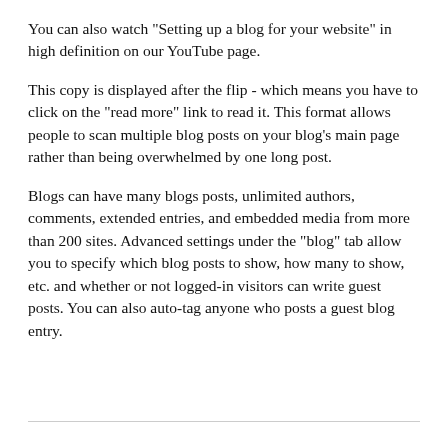You can also watch "Setting up a blog for your website" in high definition on our YouTube page.
This copy is displayed after the flip - which means you have to click on the "read more" link to read it. This format allows people to scan multiple blog posts on your blog's main page rather than being overwhelmed by one long post.
Blogs can have many blogs posts, unlimited authors, comments, extended entries, and embedded media from more than 200 sites. Advanced settings under the "blog" tab allow you to specify which blog posts to show, how many to show, etc. and whether or not logged-in visitors can write guest posts. You can also auto-tag anyone who posts a guest blog entry.